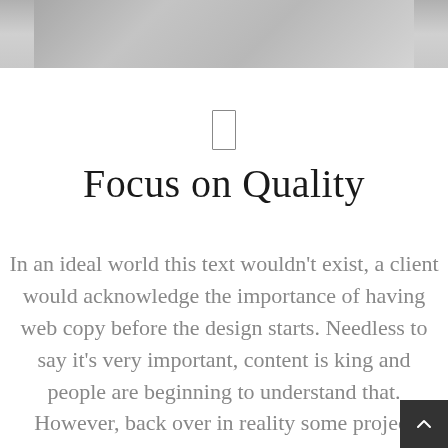[Figure (photo): Grayscale photo strip at top of page, partial view]
[Figure (illustration): Small rectangle/phone icon centered on page]
Focus on Quality
In an ideal world this text wouldn't exist, a client would acknowledge the importance of having web copy before the design starts. Needless to say it's very important, content is king and people are beginning to understand that. However, back over in reality some project schedules and budgets don't allow